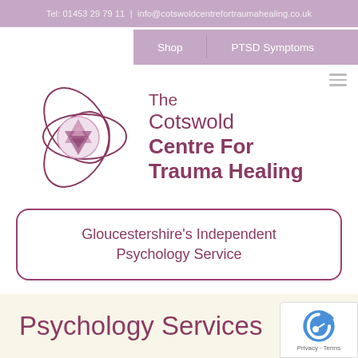Tel: 01453 29 79 11 | info@cotswoldcentrefortraumahealing.co.uk
Shop | PTSD Symptoms
[Figure (logo): The Cotswold Centre For Trauma Healing logo — overlapping oval curves forming an atom-like shape with a geometric star/crystal design in the center (pink and purple), next to the text 'The Cotswold Centre For Trauma Healing']
Gloucestershire's Independent Psychology Service
Psychology Services